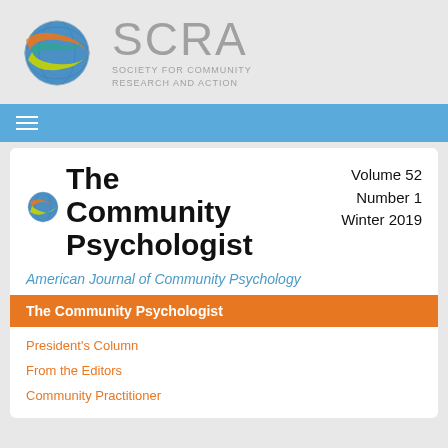[Figure (logo): SCRA globe logo with colorful ribbons (orange, yellow-green, teal) wrapping around a blue globe]
SCRA
SOCIETY FOR COMMUNITY
RESEARCH AND ACTION
[Figure (other): Blue navigation bar with hamburger menu icon]
The Community Psychologist
Volume 52
Number 1
Winter 2019
American Journal of Community Psychology
The Community Psychologist
President's Column
From the Editors
Community Practitioner